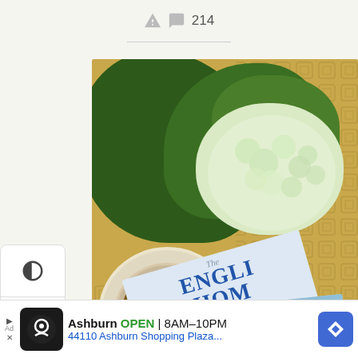214
[Figure (photo): Overhead flat-lay photo of a cup of tea in a fine china cup and saucer, two issues of The English Home magazine, and white/green hydrangea flowers on a yellow patterned tablecloth.]
Ashburn OPEN 8AM–10PM 44110 Ashburn Shopping Plaza...